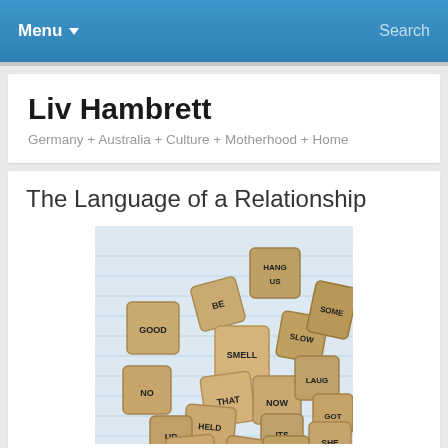Menu  Search
Liv Hambrett
Germany + Australia + Culture + Motherhood + Home
The Language of a Relationship
[Figure (photo): A pile of wooden letter dice with words printed on their faces, including GOOD, SMELL, SLOW, SOME, NO, THAT, NOW, LAUG, GOT, HELD, UP, ITS, SHE, FACE, WHY, THEIR, OHM, LADY, and others, scattered on a light blue lined surface.]